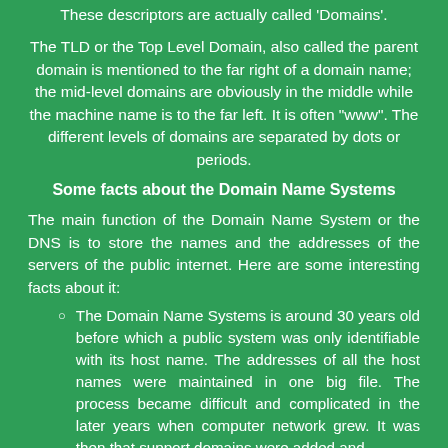These descriptors are actually called 'Domains'.
The TLD or the Top Level Domain, also called the parent domain is mentioned to the far right of a domain name; the mid-level domains are obviously in the middle while the machine name is to the far left. It is often "www". The different levels of domains are separated by dots or periods.
Some facts about the Domain Name Systems
The main function of the Domain Name System or the DNS is to store the names and the addresses of the servers of the public internet. Here are some interesting facts about it:
The Domain Name Systems is around 30 years old before which a public system was only identifiable with its host name. The addresses of all the host names were maintained in one big file. The process became difficult and complicated in the later years when computer network grew. It was then that support domains were added and